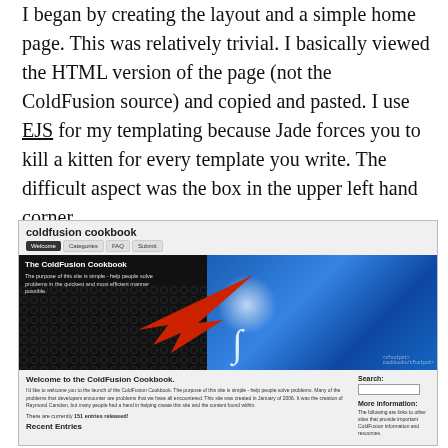I began by creating the layout and a simple home page. This was relatively trivial. I basically viewed the HTML version of the page (not the ColdFusion source) and copied and pasted. I use EJS for my templating because Jade forces you to kill a kitten for every template you write. The difficult aspect was the box in the upper left hand corner.
[Figure (screenshot): Screenshot of the ColdFusion Cookbook website, showing the site title, navigation bar with Welcome/Categories/FAQ/Submit tabs, a hero area with dark left panel showing 'The ColdFusion Cookbook' text and a blue right panel with a glowing light and ColdFusion swirl logo, a red arrow pointing to the upper left box, and below that a welcome text area and sidebar with Search and More information sections.]